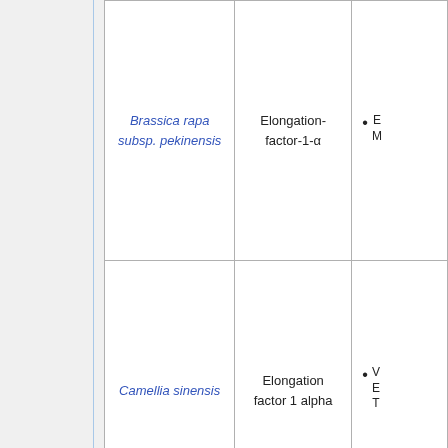| Species | Protein | Details |
| --- | --- | --- |
| Brassica rapa subsp. pekinensis | Elongation-factor-1-α | • E... M... |
| Camellia sinensis | Elongation factor 1 alpha | • V... E... T... |
|  |  |  |